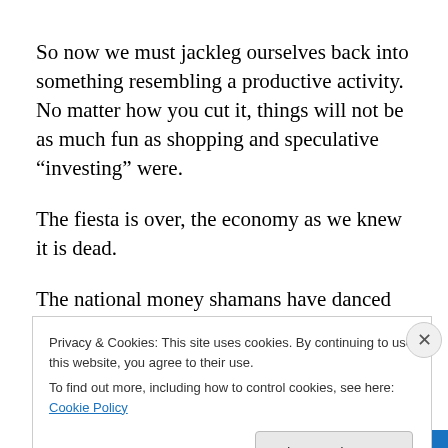So now we must jackleg ourselves back into something resembling a productive activity. No matter how you cut it, things will not be as much fun as shopping and speculative “investing” were.
The fiesta is over, the economy as we knew it is dead.
The national money shamans have danced around the carcass of our dead horse economy, chanted the recovery
Privacy & Cookies: This site uses cookies. By continuing to use this website, you agree to their use.
To find out more, including how to control cookies, see here: Cookie Policy
Close and accept